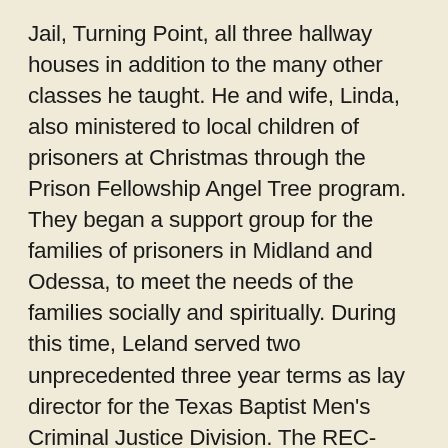Jail, Turning Point, all three hallway houses in addition to the many other classes he taught. He and wife, Linda, also ministered to local children of prisoners at Christmas through the Prison Fellowship Angel Tree program. They began a support group for the families of prisoners in Midland and Odessa, to meet the needs of the families socially and spiritually. During this time, Leland served two unprecedented three year terms as lay director for the Texas Baptist Men's Criminal Justice Division. The REC-Room (Re-Entry Chapel) was established by him to win souls for the Lord Jesus Christ. He loved the Lord Jesus Christ. He loved the Lord and worked tirelessly every day to "be about my Father's business". He will be missed by so many for so many different reasons.  His book, "Keep Looking Up!" was published in October, 2015.  It is a compilation of